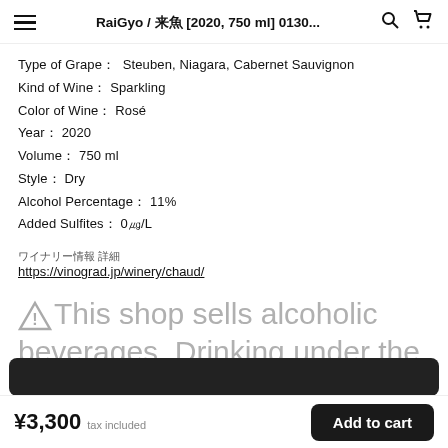RaiGyo / 来魚 [2020, 750 ml] 0130...
Type of Grape：Steuben, Niagara, Cabernet Sauvignon
Kind of Wine：Sparkling
Color of Wine：Rosé
Year：2020
Volume：750 ml
Style：Dry
Alcohol Percentage：11%
Added Sulfites：0㎎/L
ワイナリー情報
https://vinograd.jp/winery/chaud/
⚠This shop sells alcoholic beverages. Drinking under the age of 20 is prohibited by law.
¥3,300  tax included  |  Add to cart